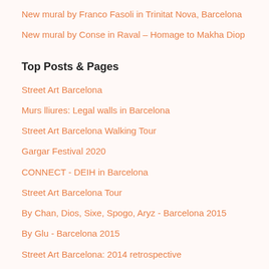New mural by Franco Fasoli in Trinitat Nova, Barcelona
New mural by Conse in Raval – Homage to Makha Diop
Top Posts & Pages
Street Art Barcelona
Murs lliures: Legal walls in Barcelona
Street Art Barcelona Walking Tour
Gargar Festival 2020
CONNECT - DEIH in Barcelona
Street Art Barcelona Tour
By Chan, Dios, Sixe, Spogo, Aryz - Barcelona 2015
By Glu - Barcelona 2015
Street Art Barcelona: 2014 retrospective
Jorge Rodriguez-Gerada